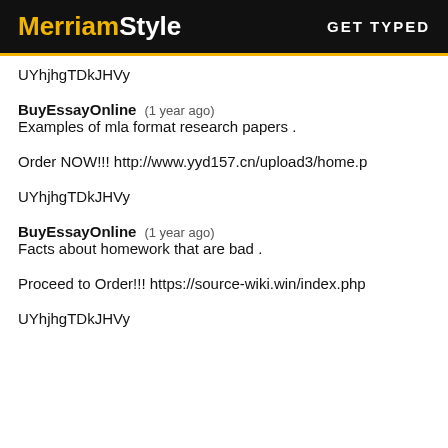MerriamStyle  GET TYPED
UYhjhgTDkJHVy
BuyEssayOnline   (1 year ago)
Examples of mla format research papers .
Order NOW!!! http://www.yyd157.cn/upload3/home.p
UYhjhgTDkJHVy
BuyEssayOnline   (1 year ago)
Facts about homework that are bad .
Proceed to Order!!! https://source-wiki.win/index.php
UYhjhgTDkJHVy